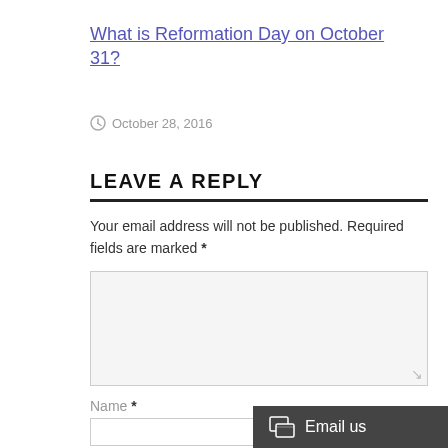What is Reformation Day on October 31?
October 28, 2016
LEAVE A REPLY
Your email address will not be published. Required fields are marked *
Name *
Email *